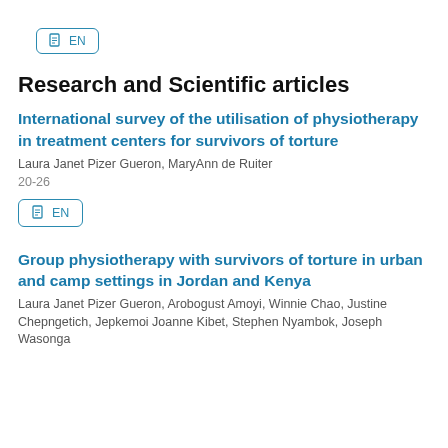[Figure (other): EN button/link at top of page]
Research and Scientific articles
International survey of the utilisation of physiotherapy in treatment centers for survivors of torture
Laura Janet Pizer Gueron, MaryAnn de Ruiter
20-26
[Figure (other): EN button/link]
Group physiotherapy with survivors of torture in urban and camp settings in Jordan and Kenya
Laura Janet Pizer Gueron, Arobogust Amoyi, Winnie Chao, Justine Chepngetich, Jepkemoi Joanne Kibet, Stephen Nyambok, Joseph Wasonga